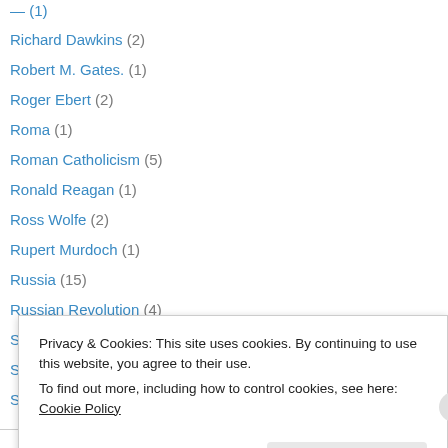Richard Dawkins (2)
Robert M. Gates. (1)
Roger Ebert (2)
Roma (1)
Roman Catholicism (5)
Ronald Reagan (1)
Ross Wolfe (2)
Rupert Murdoch (1)
Russia (15)
Russian Revolution (4)
Sacha Baron Cohen (1)
Sam Harris (1)
San Francisco (2)
Privacy & Cookies: This site uses cookies. By continuing to use this website, you agree to their use.
To find out more, including how to control cookies, see here: Cookie Policy